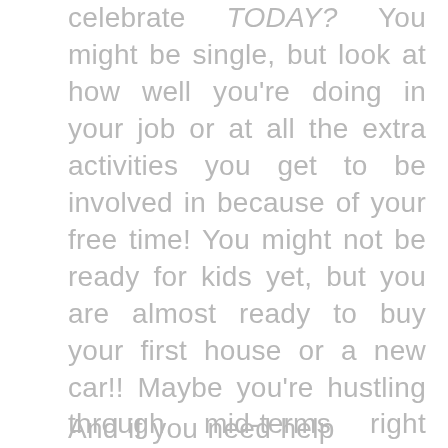celebrate TODAY? You might be single, but look at how well you're doing in your job or at all the extra activities you get to be involved in because of your free time! You might not be ready for kids yet, but you are almost ready to buy your first house or a new car!! Maybe you're hustling through mid-terms right now, but can we go back and celebrate for just a minute that you got accepted to the school of your dreams?! I'm giving examples, but I hope they help you apply your own story and find things to be able to celebrate.
And if you need help